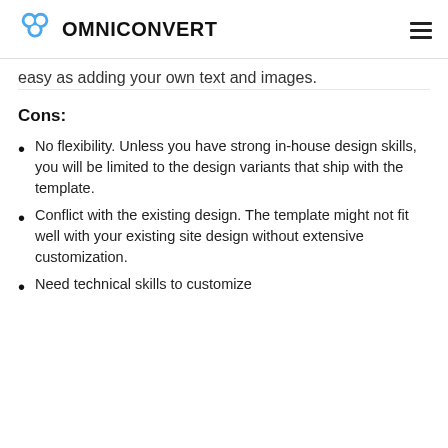OMNICONVERT
easy as adding your own text and images.
Cons:
No flexibility. Unless you have strong in-house design skills, you will be limited to the design variants that ship with the template.
Conflict with the existing design. The template might not fit well with your existing site design without extensive customization.
Need technical skills to customize